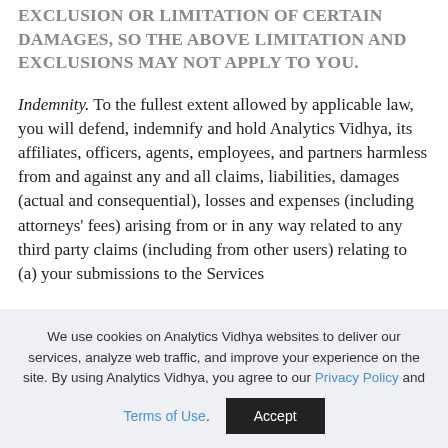CONTROL. SOME STATES DO NOT ALLOW THE EXCLUSION OR LIMITATION OF CERTAIN DAMAGES, SO THE ABOVE LIMITATION AND EXCLUSIONS MAY NOT APPLY TO YOU.
Indemnity. To the fullest extent allowed by applicable law, you will defend, indemnify and hold Analytics Vidhya, its affiliates, officers, agents, employees, and partners harmless from and against any and all claims, liabilities, damages (actual and consequential), losses and expenses (including attorneys' fees) arising from or in any way related to any third party claims (including from other users) relating to (a) your submissions to the Services
We use cookies on Analytics Vidhya websites to deliver our services, analyze web traffic, and improve your experience on the site. By using Analytics Vidhya, you agree to our Privacy Policy and Terms of Use.